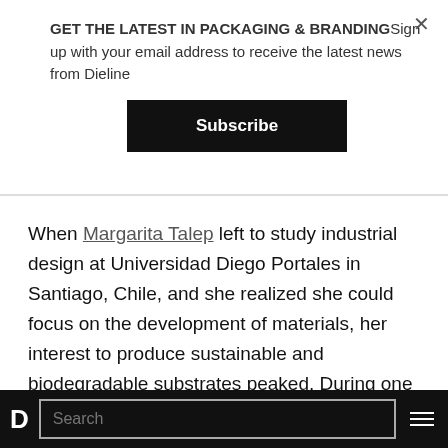GET THE LATEST IN PACKAGING & BRANDINGSign up with your email address to receive the latest news from Dieline
Subscribe
When Margarita Talep left to study industrial design at Universidad Diego Portales in Santiago, Chile, and she realized she could focus on the development of materials, her interest to produce sustainable and biodegradable substrates peaked. During one of her workshops, she discovered biopolymers and how bioplastics could be produced from the protein found in
D  Search  ≡